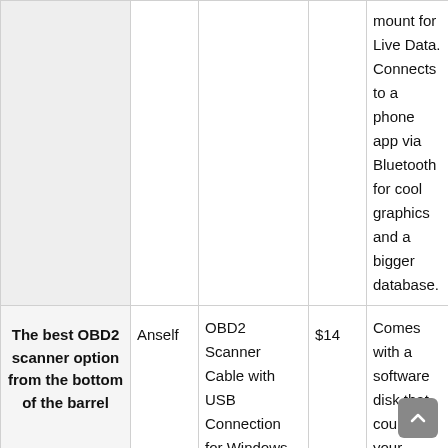|  |  |  |  |  |
| --- | --- | --- | --- | --- |
|  |  |  |  | mount for Live Data. Connects to a phone app via Bluetooth for cool graphics and a bigger database. |
| The best OBD2 scanner option from the bottom of the barrel | Anself | OBD2 Scanner Cable with USB Connection for Windows | $14 | Comes with a software disk that could turn your laptop into an OBD2 scanner. Should read... |